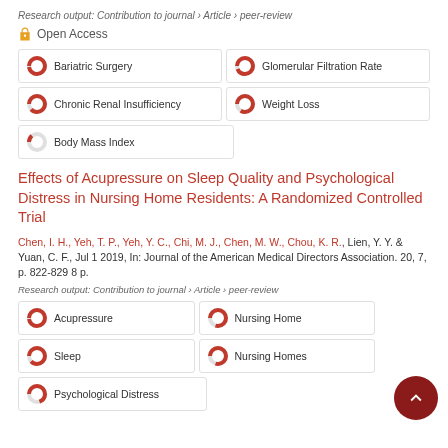Research output: Contribution to journal › Article › peer-review
Open Access
Bariatric Surgery
Glomerular Filtration Rate
Chronic Renal Insufficiency
Weight Loss
Body Mass Index
Effects of Acupressure on Sleep Quality and Psychological Distress in Nursing Home Residents: A Randomized Controlled Trial
Chen, I. H., Yeh, T. P., Yeh, Y. C., Chi, M. J., Chen, M. W., Chou, K. R., Lien, Y. Y. & Yuan, C. F., Jul 1 2019, In: Journal of the American Medical Directors Association. 20, 7, p. 822-829 8 p.
Research output: Contribution to journal › Article › peer-review
Acupressure
Nursing Home
Sleep
Nursing Homes
Psychological Distress